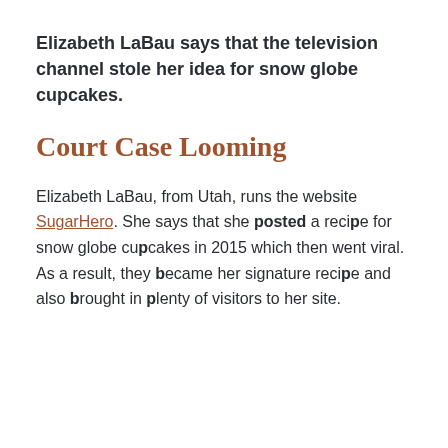Elizabeth LaBau says that the television channel stole her idea for snow globe cupcakes.
Court Case Looming
Elizabeth LaBau, from Utah, runs the website SugarHero. She says that she posted a recipe for snow globe cupcakes in 2015 which then went viral. As a result, they became her signature recipe and also brought in plenty of visitors to her site.